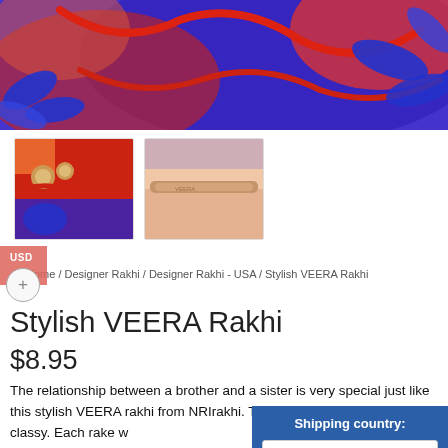[Figure (photo): Main product photo showing a colorful Rakhi bracelet with red cord and blue decorative elements against a vivid blue and red background.]
[Figure (photo): Thumbnail 1: Close-up of the Rakhi with wooden beads on a red background with blue fabric.]
[Figure (photo): Thumbnail 2: Close-up of the Rakhi bracelet on a light pink/peach surface showing detail of the band.]
USD
Home / Designer Rakhi / Designer Rakhi - USA / Stylish VEERA Rakhi
Stylish VEERA Rakhi
$8.95
The relationship between a brother and a sister is very special just like this stylish VEERA rakhi from NRIrakhi. The rakhi is extremly trendy yet classy. Each rake w Chawal and yes the shipping is on us.
Shipping country:
United States (US)